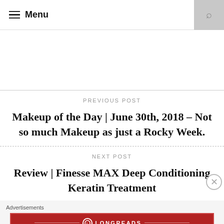Menu
PREVIOUS POST
Makeup of the Day | June 30th, 2018 – Not so much Makeup as just a Rocky Week.
NEXT POST
Review | Finesse MAX Deep Conditioning Keratin Treatment
Advertisements
[Figure (other): Longreads advertisement banner in dark red: logo circle with L, tagline 'The best stories on the web — ours, and everyone else's.']